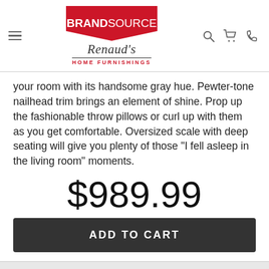BrandSource Renaud's Home Furnishings
your room with its handsome gray hue. Pewter-tone nailhead trim brings an element of shine. Prop up the fashionable throw pillows or curl up with them as you get comfortable. Oversized scale with deep seating will give you plenty of those “I fell asleep in the living room” moments.
$989.99
ADD TO CART